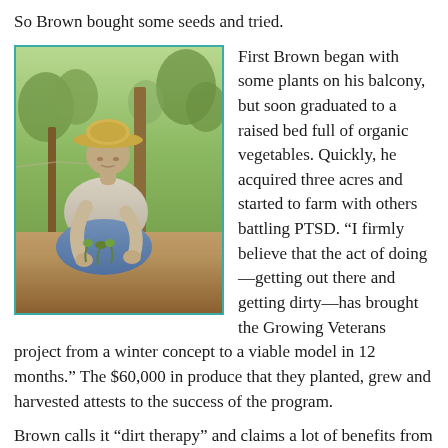So Brown bought some seeds and tried.
[Figure (photo): An older man wearing a straw hat and light grey shirt, crouching down in a garden or farm, tending to small plants in the soil. Wooden stakes are visible, and lush green vegetation is in the background.]
First Brown began with some plants on his balcony, but soon graduated to a raised bed full of organic vegetables. Quickly, he acquired three acres and started to farm with others battling PTSD. “I firmly believe that the act of doing—getting out there and getting dirty—has brought the Growing Veterans project from a winter concept to a viable model in 12 months.” The $60,000 in produce that they planted, grew and harvested attests to the success of the program.
Brown calls it “dirt therapy” and claims a lot of benefits from